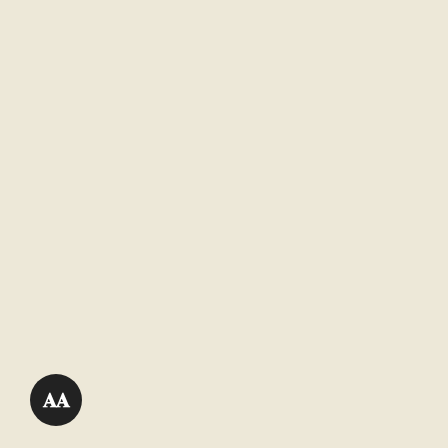| Denomination | Description | Catalog | Grade | Value |
| --- | --- | --- | --- | --- |
| 20 Xu 1948 ND Issue P13 | ND (1948) 20 Xu - 5 Small Stars on Backat Left | VNM13a | Base | 9 |
|  |  |  | ★ Star |  |
| 20 Xu 1948 ND Issue P13 | ND (1948) 20 Xu - 5 Large Stars on Backat Left | VNM13b | Base | 9 |
|  |  |  | ★ Star |  |
| 50 Xu 1948 ND Issue P14 | ND (1948) 50 Xu - Blue Serial Number | VNM14a | Base | 9 |
|  |  |  | ★ Star |  |
| 50 Xu 1948 ND Issue P14 | ND (1948) 50 Xu - Red Serial Number | VNM14b | Base | 9 |
|  |  |  | ★ Star |  |
| 1 Dong 1948 ND Issue P15 | ND (1948) 1 Dông | VNM15 | Base | 9 |
|  |  |  | ★ Star |  |
| 1 Dong 1948 ND Issue P16 | ND (1948) 1 Dông | VNM16 | Base | 3 |
|  |  |  | ★ Star |  |
| 5 Dong 1948 ND Issue P17 | ND (1948) 5 Dông | VNM17a | Base | 3 |
|  |  |  | ★ Star |  |